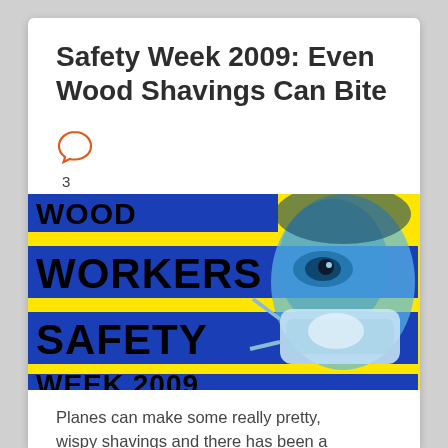Safety Week 2009: Even Wood Shavings Can Bite
[Figure (illustration): Woodworkers Safety Week 2009 promotional poster with yellow background, blue banner strips, bold black text reading WOODWORKERS SAFETY WEEK 2009, and a blue-toned illustration of a person wearing a safety mask on the right side.]
Planes can make some really pretty, wispy shavings and there has been a